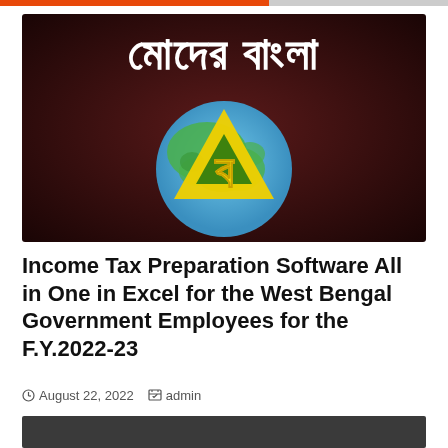[Figure (logo): Moder Bangla logo: dark maroon/brown background with Bengali text 'মোদের বাংলা' in white at the top, and a globe graphic in the center showing a green world map on a blue sphere, with a large yellow Bengali letter overlaid on a yellow triangle with a smaller green/dark interior triangle.]
Income Tax Preparation Software All in One in Excel for the West Bengal Government Employees for the F.Y.2022-23
August 22, 2022   admin
[Figure (photo): Bottom portion of a dark grey/charcoal image, partially visible at the bottom of the page.]